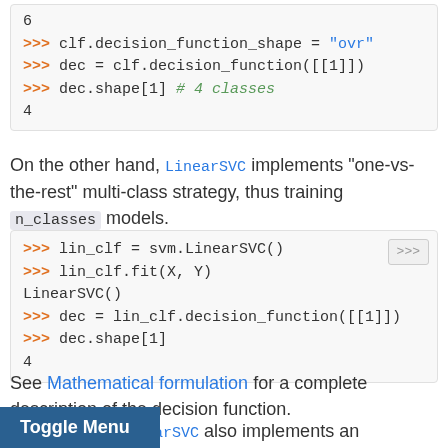6
>>> clf.decision_function_shape = "ovr"
>>> dec = clf.decision_function([[1]])
>>> dec.shape[1] # 4 classes
4
On the other hand, LinearSVC implements “one-vs-the-rest” multi-class strategy, thus training n_classes models.
>>> lin_clf = svm.LinearSVC()
>>> lin_clf.fit(X, Y)
LinearSVC()
>>> dec = lin_clf.decision_function([[1]])
>>> dec.shape[1]
4
See Mathematical formulation for a complete description of the decision function.
Note that the LinearSVC also implements an alternative strategy, the so-called multi-class SVM formulated by Crammer and Singer [[16]], by using the